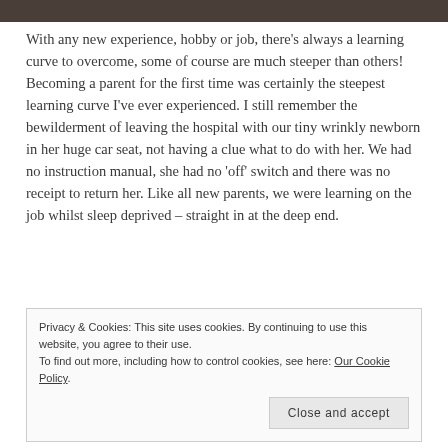[Figure (photo): Dark brown/black image bar at the top of the page, cropped photo]
With any new experience, hobby or job, there's always a learning curve to overcome, some of course are much steeper than others! Becoming a parent for the first time was certainly the steepest learning curve I've ever experienced. I still remember the bewilderment of leaving the hospital with our tiny wrinkly newborn in her huge car seat, not having a clue what to do with her. We had no instruction manual, she had no 'off' switch and there was no receipt to return her. Like all new parents, we were learning on the job whilst sleep deprived – straight in at the deep end.
Privacy & Cookies: This site uses cookies. By continuing to use this website, you agree to their use. To find out more, including how to control cookies, see here: Our Cookie Policy.
Close and accept